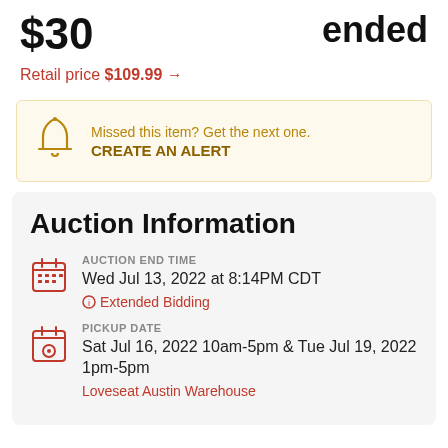$30
ended
Retail price $109.99 →
Missed this item? Get the next one. CREATE AN ALERT
Auction Information
AUCTION END TIME
Wed Jul 13, 2022 at 8:14PM CDT
Extended Bidding
PICKUP DATE
Sat Jul 16, 2022 10am-5pm & Tue Jul 19, 2022 1pm-5pm
Loveseat Austin Warehouse